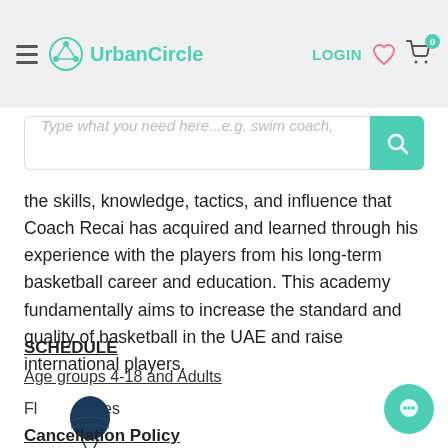UrbanCircle — LOGIN — Cart (0)
Type what you need here...e.g. swim coach,
the skills, knowledge, tactics, and influence that Coach Recai has acquired and learned through his experience with the players from his long-term basketball career and education. This academy fundamentally aims to increase the standard and quality of basketball in the UAE and raise international players.
SCHEDULE
Age groups 4-18 and Adults
Flexible times
Cancellation Policy